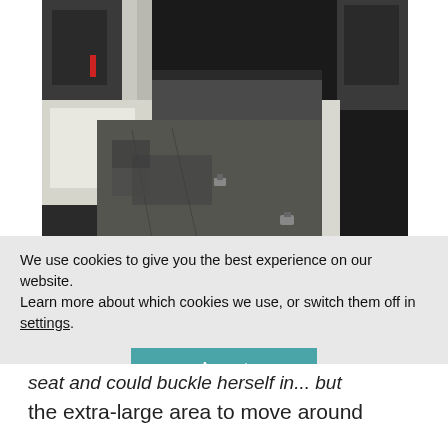[Figure (photo): Interior of a minivan showing the cargo floor area with seats folded or removed. Child car seats visible in background on both sides. Dark carpet floor, white/cream seat upholstery.]
We use cookies to give you the best experience on our website.
Learn more about which cookies we use, or switch them off in settings.
Accept
seat and could buckle herself in... but the extra-large area to move around